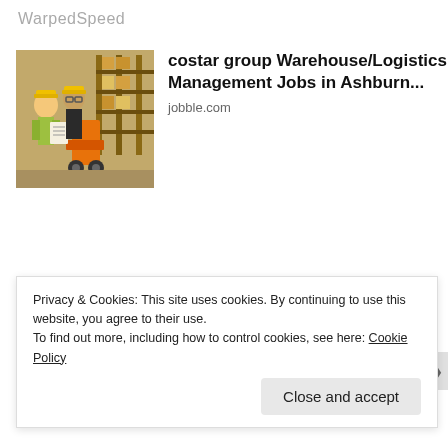WarpedSpeed
[Figure (photo): Two warehouse workers in yellow hard hats and safety vests reviewing documents in a warehouse with shelving.]
costar group Warehouse/Logistics Management Jobs in Ashburn...
jobble.com
[Figure (photo): Woman with long blonde hair wearing a red top, pointing at a chalkboard with writing on it.]
We Will Guess Your Education Level in 20 Questions
Bon Voyaged
Privacy & Cookies: This site uses cookies. By continuing to use this website, you agree to their use.
To find out more, including how to control cookies, see here: Cookie Policy
Close and accept